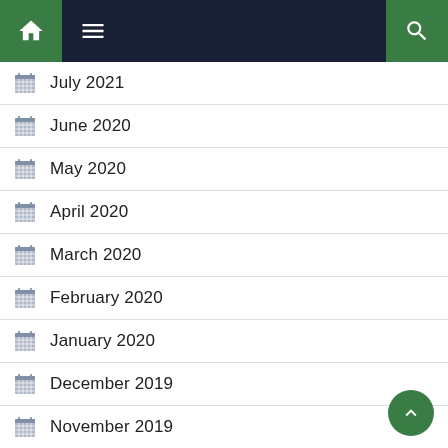Navigation bar with home, menu, and search icons
July 2021
June 2020
May 2020
April 2020
March 2020
February 2020
January 2020
December 2019
November 2019
October 2019